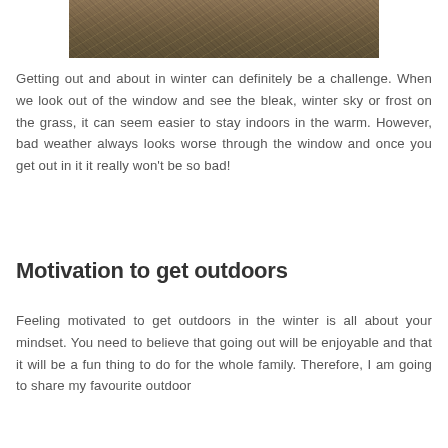[Figure (photo): Partial photograph showing a winter ground scene with dirt, twigs, and dry grass]
Getting out and about in winter can definitely be a challenge. When we look out of the window and see the bleak, winter sky or frost on the grass, it can seem easier to stay indoors in the warm. However, bad weather always looks worse through the window and once you get out in it it really won't be so bad!
Motivation to get outdoors
Feeling motivated to get outdoors in the winter is all about your mindset. You need to believe that going out will be enjoyable and that it will be a fun thing to do for the whole family. Therefore, I am going to share my favourite outdoor